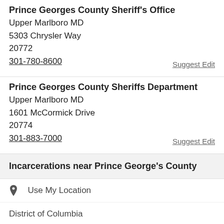Prince Georges County Sheriff's Office
Upper Marlboro MD
5303 Chrysler Way
20772
301-780-8600
Suggest Edit
Prince Georges County Sheriffs Department
Upper Marlboro MD
1601 McCormick Drive
20774
301-883-7000
Suggest Edit
Incarcerations near Prince George's County
Use My Location
District of Columbia
Alexandria
Arlington County